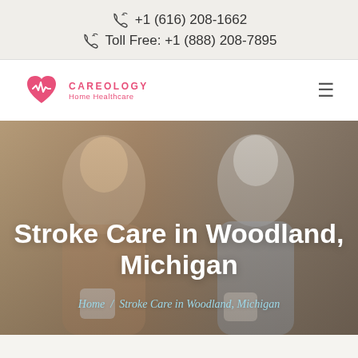+1 (616) 208-1662
Toll Free: +1 (888) 208-7895
[Figure (logo): Careology Home Healthcare logo with pink heart and heartbeat line icon]
Stroke Care in Woodland, Michigan
Home / Stroke Care in Woodland, Michigan
[Figure (photo): Two women smiling and talking over coffee cups — a younger caregiver and an older woman with grey hair]